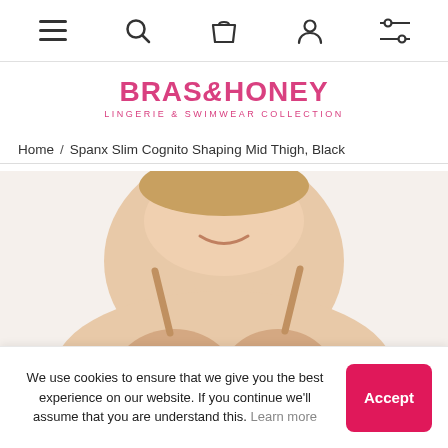Navigation bar with menu, search, cart, account, and filter icons
[Figure (logo): Bras & Honey Lingerie & Swimwear Collection logo in pink]
Home / Spanx Slim Cognito Shaping Mid Thigh, Black
[Figure (photo): Woman wearing a nude/beige bra, smiling, upper body visible against white background]
We use cookies to ensure that we give you the best experience on our website. If you continue we'll assume that you are understand this. Learn more